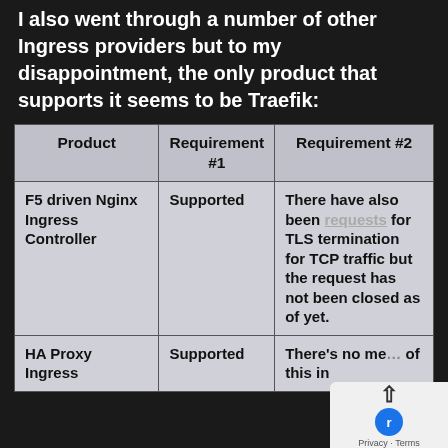I also went through a number of other Ingress providers but to my disappointment, the only product that supports it seems to be Traefik:
| Product | Requirement #1 | Requirement #2 |
| --- | --- | --- |
| F5 driven Nginx Ingress Controller | Supported | There have also been requests for TLS termination for TCP traffic but the request has not been closed as of yet. |
| HA Proxy Ingress | Supported | There's no me... of this in |